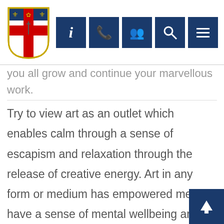[Figure (logo): City of London school shield/crest logo with red cross, blue top with fleur-de-lis symbols and sword]
[Figure (infographic): Navigation bar with 5 dark blue icon buttons: info (i), phone/contact, people/directory, search, and menu (hamburger)]
you all grow and continue your marvellous work.
Try to view art as an outlet which enables calm through a sense of escapism and relaxation through the release of creative energy. Art in any form or medium has empowered me to have a sense of mental wellbeing and to remain calm despite the difficulties. I hope it can with you too. The benefits can be outstanding. Keep on making and keep on being creative and expressive. I truly